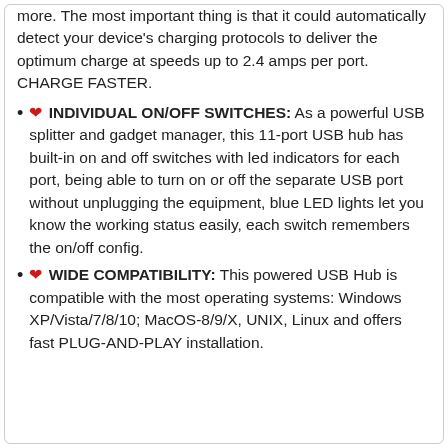more. The most important thing is that it could automatically detect your device's charging protocols to deliver the optimum charge at speeds up to 2.4 amps per port. CHARGE FASTER.
❤ INDIVIDUAL ON/OFF SWITCHES: As a powerful USB splitter and gadget manager, this 11-port USB hub has built-in on and off switches with led indicators for each port, being able to turn on or off the separate USB port without unplugging the equipment, blue LED lights let you know the working status easily, each switch remembers the on/off config.
❤ WIDE COMPATIBILITY: This powered USB Hub is compatible with the most operating systems: Windows XP/Vista/7/8/10; MacOS-8/9/X, UNIX, Linux and offers fast PLUG-AND-PLAY installation.